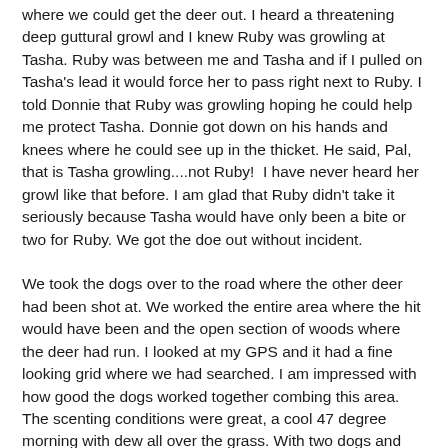where we could get the deer out. I heard a threatening deep guttural growl and I knew Ruby was growling at Tasha. Ruby was between me and Tasha and if I pulled on Tasha's lead it would force her to pass right next to Ruby. I told Donnie that Ruby was growling hoping he could help me protect Tasha. Donnie got down on his hands and knees where he could see up in the thicket. He said, Pal, that is Tasha growling....not Ruby!  I have never heard her growl like that before. I am glad that Ruby didn't take it seriously because Tasha would have only been a bite or two for Ruby. We got the doe out without incident.
We took the dogs over to the road where the other deer had been shot at. We worked the entire area where the hit would have been and the open section of woods where the deer had run. I looked at my GPS and it had a fine looking grid where we had searched. I am impressed with how good the dogs worked together combing this area. The scenting conditions were great, a cool 47 degree morning with dew all over the grass. With two dogs and two handlers working the area, I am convinced that the shot was a clean miss. We had a great morning, spent some time in the woods with the dogs and even recovered a deer. This is one that would have been easy